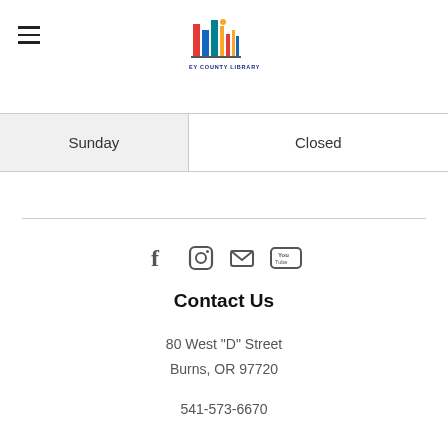[Figure (logo): Harney County Library logo with colorful book spines graphic and text 'HARNEY COUNTY LIBRARY']
| Sunday | Closed |
[Figure (infographic): Social media icons: Facebook, Instagram, Email, YouTube]
Contact Us
80 West "D" Street
Burns, OR 97720
541-573-6670